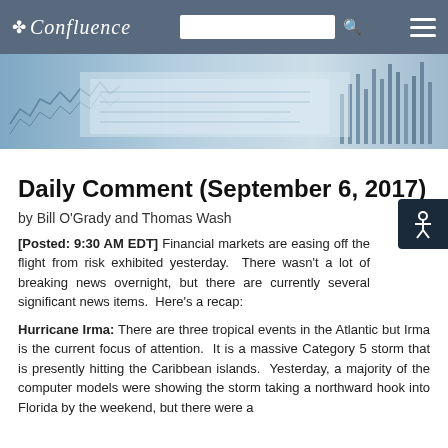Confluence
[Figure (photo): Hero banner image showing financial charts, stock market graphs, and financial newspaper data sheets in blue tones]
Daily Comment (September 6, 2017)
by Bill O'Grady and Thomas Wash
[Posted: 9:30 AM EDT] Financial markets are easing off the flight from risk exhibited yesterday.  There wasn't a lot of breaking news overnight, but there are currently several significant news items.  Here's a recap:
Hurricane Irma: There are three tropical events in the Atlantic but Irma is the current focus of attention.  It is a massive Category 5 storm that is presently hitting the Caribbean islands.  Yesterday, a majority of the computer models were showing the storm taking a northward hook into Florida by the weekend, but there were a